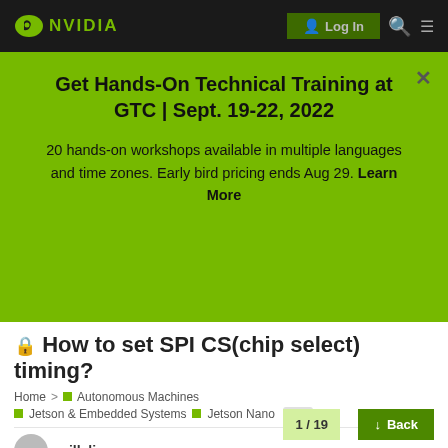[Figure (screenshot): NVIDIA navigation bar with logo, Login button, search icon, and hamburger menu on dark background]
Get Hands-On Technical Training at GTC | Sept. 19-22, 2022
20 hands-on workshops available in multiple languages and time zones. Early bird pricing ends Aug 29. Learn More
🔒 How to set SPI CS(chip select) timing?
Home > Autonomous Machines > Jetson & Embedded Systems > Jetson Nano  spi
will_lin
1 / 19